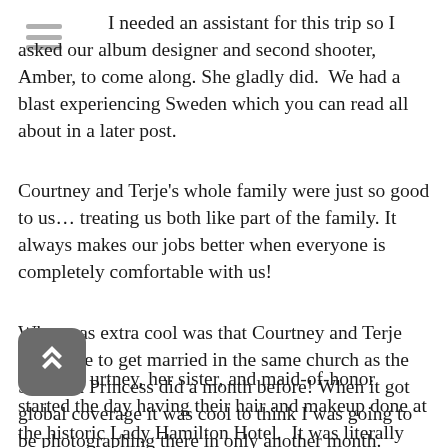I needed an assistant for this trip so I asked our album designer and second shooter, Amber, to come along. She gladly did.  We had a blast experiencing Sweden which you can read all about in a later post.
Courtney and Terje's whole family were just so good to us… treating us both like part of the family. It always makes our jobs better when everyone is completely comfortable with us!
What was extra cool was that Courtney and Terje were able to get married in the same church as the Swedish Princess did a month before! When it got global coverage it was cool to think I was going to be photographing there in only another month.
Courtney, her sister, and maid-of-honor started the day having their hair and makeup done at the historic Lady Hamilton Hotel.  It was literally right